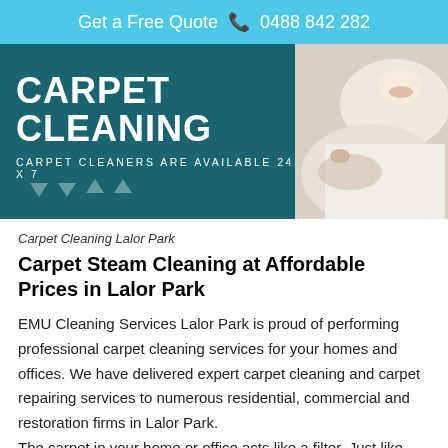Get a Free Quote ☎ 0488 842 282
[Figure (photo): Carpet Cleaning promotional banner with teal background showing text 'CARPET CLEANING' and 'CARPET CLEANERS ARE AVAILABLE 24 X 7', alongside a photo of a child and a dog lying on a white carpet]
Carpet Cleaning Lalor Park
Carpet Steam Cleaning at Affordable Prices in Lalor Park
EMU Cleaning Services Lalor Park is proud of performing professional carpet cleaning services for your homes and offices. We have delivered expert carpet cleaning and carpet repairing services to numerous residential, commercial and restoration firms in Lalor Park.
The carpet in your home or office acts like a filter. Just like any other filter, it’s important to ensure that you regularly maintain it to ensure that it properly does its